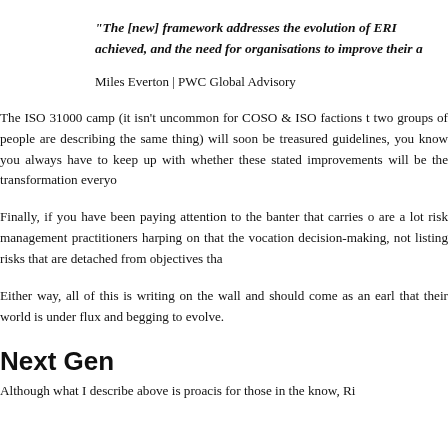“The [new] framework addresses the evolution of ERM achieved, and the need for organisations to improve their a
Miles Everton | PWC Global Advisory
The ISO 31000 camp (it isn’t uncommon for COSO & ISO factions t two groups of people are describing the same thing) will soon be treasured guidelines, you know you always have to keep up with whether these stated improvements will be the transformation everyo
Finally, if you have been paying attention to the banter that carries o are a lot risk management practitioners harping on that the vocation decision-making, not listing risks that are detached from objectives tha
Either way, all of this is writing on the wall and should come as an earl that their world is under flux and begging to evolve.
Next Gen
Although what I describe above is proacis for those in the know, Ri